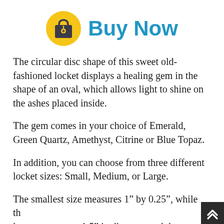[Figure (logo): Yellow circle with a shopping bag icon (dark, with a price tag), followed by 'Buy Now' text in bold blue]
The circular disc shape of this sweet old-fashioned locket displays a healing gem in the shape of an oval, which allows light to shine on the ashes placed inside.
The gem comes in your choice of Emerald, Green Quartz, Amethyst, Citrine or Blue Topaz.
In addition, you can choose from three different locket sizes: Small, Medium, or Large.
The smallest size measures 1” by 0.25”, while the largest measures 1.5” in diameter and three-